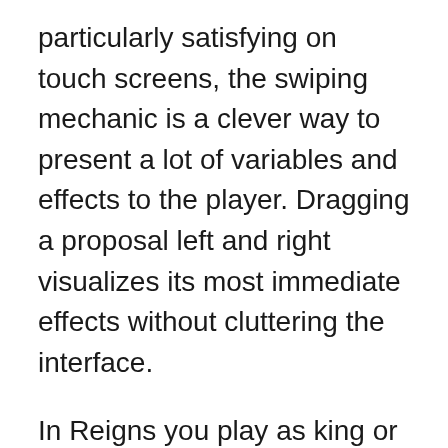particularly satisfying on touch screens, the swiping mechanic is a clever way to present a lot of variables and effects to the player. Dragging a proposal left and right visualizes its most immediate effects without cluttering the interface.

In Reigns you play as king or queen, going through a series of grievances from your subjects. Your goal is to stay in power as long as possible, but at